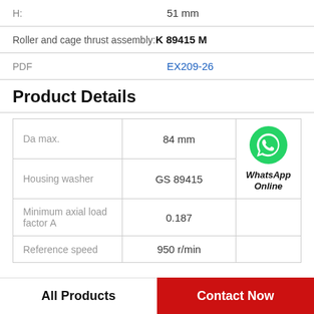| Label | Value |
| --- | --- |
| H: | 51 mm |
| Roller and cage thrust assembly: | K 89415 M |
| PDF | EX209-26 |
Product Details
| Property | Value | WhatsApp |
| --- | --- | --- |
| Da max. | 84 mm | WhatsApp Online |
| Housing washer | GS 89415 |  |
| Minimum axial load factor A | 0.187 |  |
| Reference speed | 950 r/min |  |
All Products | Contact Now